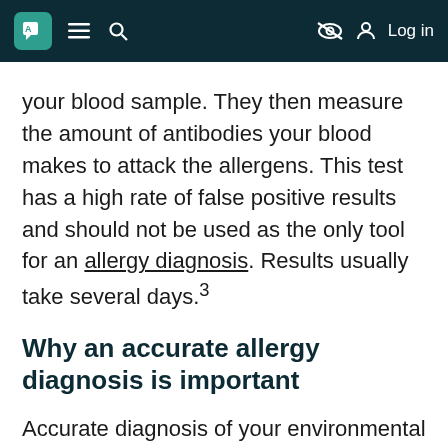A [logo] ≡ 🔍 [eye-slash icon] Log in
your blood sample. They then measure the amount of antibodies your blood makes to attack the allergens. This test has a high rate of false positive results and should not be used as the only tool for an allergy diagnosis. Results usually take several days.³
Why an accurate allergy diagnosis is important
Accurate diagnosis of your environmental allergies is important. In order to fully treat your symptoms, the allergen needs to be identified. The diagnosis directs the course of